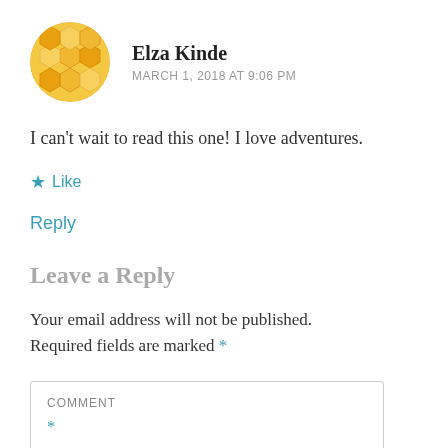[Figure (illustration): Circular avatar with honeycomb/hexagonal pattern in yellow and orange colors]
Elza Kinde
MARCH 1, 2018 AT 9:06 PM
I can't wait to read this one! I love adventures.
★ Like
Reply
Leave a Reply
Your email address will not be published. Required fields are marked *
COMMENT *